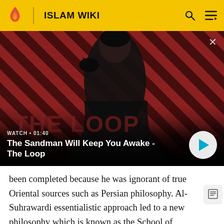ISLAM WIKI
[Figure (screenshot): Video thumbnail showing a dark figure with a raven on shoulder against red and black diagonal stripe background. Title overlay reads 'The Sandman Will Keep You Awake - The Loop'. Watch time shown as 01:40. Play button visible on right.]
been completed because he was ignorant of true Oriental sources such as Persian philosophy. Al-Suhrawardi essentialistic approach led to a new philosophy which is known as the School of Illumination.[95][96] As Suhrwardi wrote in the beginning of Story of Western Loneliness, he